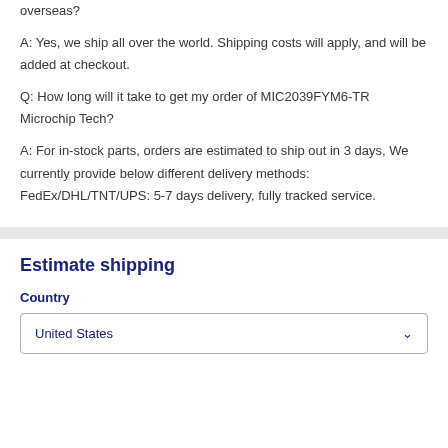overseas?
A: Yes, we ship all over the world. Shipping costs will apply, and will be added at checkout.
Q: How long will it take to get my order of MIC2039FYM6-TR Microchip Tech?
A: For in-stock parts, orders are estimated to ship out in 3 days, We currently provide below different delivery methods: FedEx/DHL/TNT/UPS: 5-7 days delivery, fully tracked service.
Estimate shipping
Country
United States